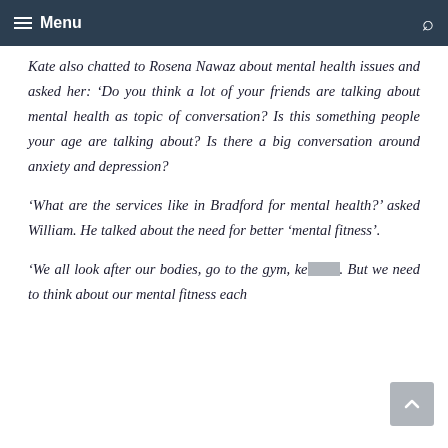Menu
Kate also chatted to Rosena Nawaz about mental health issues and asked her: ‘Do you think a lot of your friends are talking about mental health as topic of conversation? Is this something people your age are talking about? Is there a big conversation around anxiety and depression?
‘What are the services like in Bradford for mental health?’ asked William. He talked about the need for better ‘mental fitness’.
‘We all look after our bodies, go to the gym, ke…. But we need to think about our mental fitness each